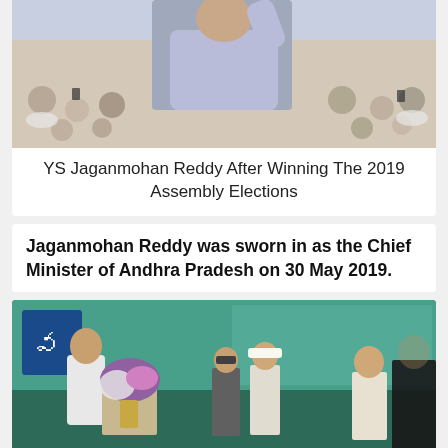[Figure (photo): YS Jaganmohan Reddy celebrating with a crowd after winning the 2019 Assembly Elections]
YS Jaganmohan Reddy After Winning The 2019 Assembly Elections
Jaganmohan Reddy was sworn in as the Chief Minister of Andhra Pradesh on 30 May 2019.
[Figure (photo): Jaganmohan Reddy at his swearing-in ceremony as Chief Minister of Andhra Pradesh, standing at a podium decorated with flowers, with officials and officers standing behind him]
Advertisement